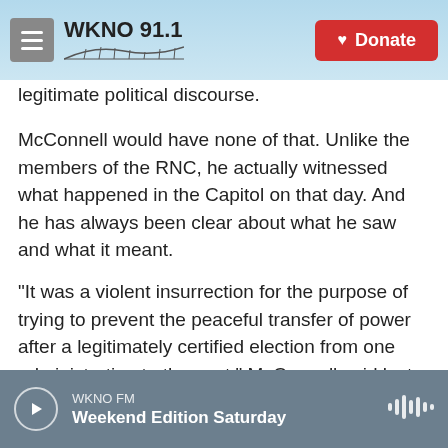WKNO 91.1 | Donate
legitimate political discourse.
McConnell would have none of that. Unlike the members of the RNC, he actually witnessed what happened in the Capitol on that day. And he has always been clear about what he saw and what it meant.
"It was a violent insurrection for the purpose of trying to prevent the peaceful transfer of power after a legitimately certified election from one administration to the next," McConnell said last week.
WKNO FM
Weekend Edition Saturday